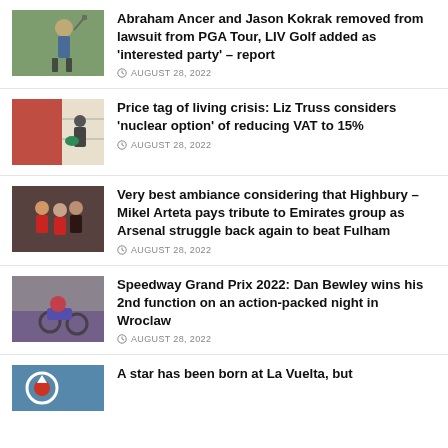[Figure (photo): Golfer holding club, wearing blue shirt]
Abraham Ancer and Jason Kokrak removed from lawsuit from PGA Tour, LIV Golf added as 'interested party' – report
AUGUST 28, 2022
[Figure (photo): Person in market/store with red signage]
Price tag of living crisis: Liz Truss considers 'nuclear option' of reducing VAT to 15%
AUGUST 28, 2022
[Figure (photo): Soccer players, Arsenal red kit]
Very best ambiance considering that Highbury – Mikel Arteta pays tribute to Emirates group as Arsenal struggle back again to beat Fulham
AUGUST 28, 2022
[Figure (photo): Speedway motorcycle racer in red helmet]
Speedway Grand Prix 2022: Dan Bewley wins his 2nd function on an action-packed night in Wroclaw
AUGUST 28, 2022
[Figure (photo): Cycling race logo/image partial]
A star has been born at La Vuelta, but